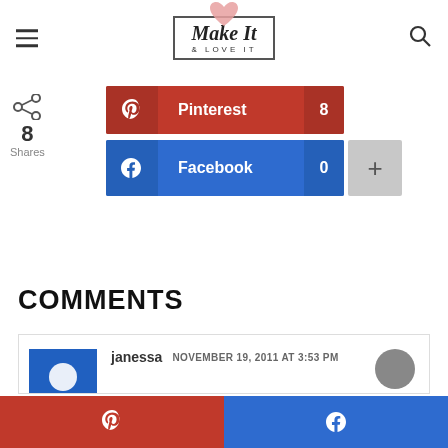Make It & Love It
[Figure (infographic): Social share buttons showing Pinterest with 8 shares and Facebook with 0 shares, plus a share count of 8]
COMMENTS
janessa  NOVEMBER 19, 2011 AT 3:53 PM
[Figure (infographic): Bottom sticky bar with Pinterest and Facebook share buttons]